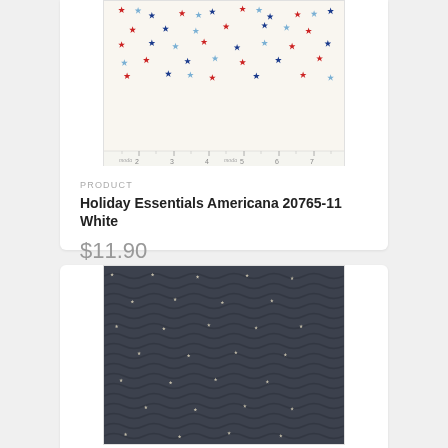[Figure (photo): White fabric with scattered red, light blue, and dark blue stars pattern, with a ruler/measuring tape along the bottom edge showing inches, and 'moda' branding]
PRODUCT
Holiday Essentials Americana 20765-11 White
$11.90
[Figure (photo): Dark navy/charcoal fabric with small cream/white star pattern and swirling rope or chain design]